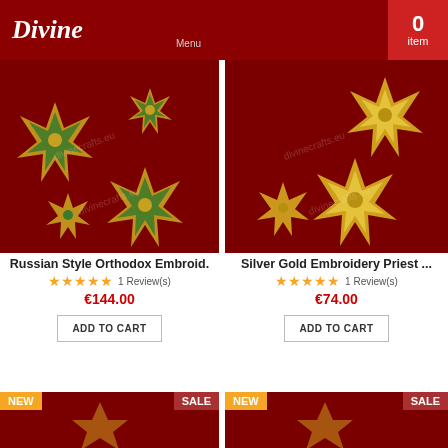Divine — Menu — 0 item
[Figure (photo): Russian Style Orthodox Embroidery patches on dark red background, green and gold ornamental cross designs]
[Figure (photo): Silver Gold Embroidery Priest patches on dark red background, gold ornamental cross designs]
Russian Style Orthodox Embroid.
★★★★★ 1 Review(s)
€144.00
ADD TO CART
Silver Gold Embroidery Priest ...
★★★★★ 1 Review(s)
€74.00
ADD TO CART
NEW   SALE
NEW   SALE